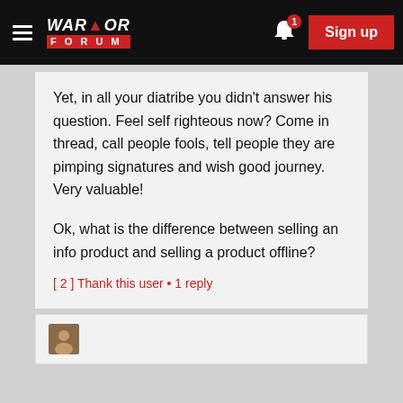Warrior Forum | Sign up
Yet, in all your diatribe you didn't answer his question. Feel self righteous now? Come in thread, call people fools, tell people they are pimping signatures and wish good journey. Very valuable!
Ok, what is the difference between selling an info product and selling a product offline?
[2] Thank this user • 1 reply